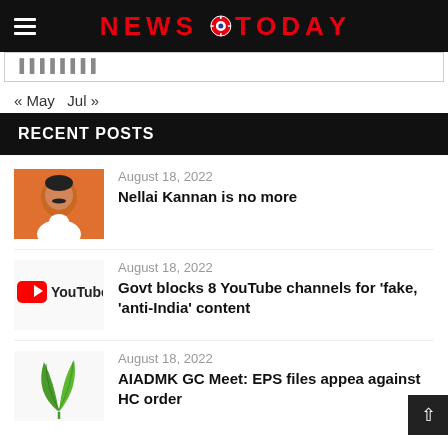NEWS TODAY
« May  Jul »
RECENT POSTS
[Figure (photo): Headshot of Nellai Kannan against orange background]
August 18, 2022
Nellai Kannan is no more
[Figure (logo): YouTube logo with play button icon and YouTube text]
August 18, 2022
Govt blocks 8 YouTube channels for 'fake, 'anti-India' content
[Figure (illustration): Green leaf / plant illustration]
August 18, 2022
AIADMK GC Meet: EPS files appea against HC order